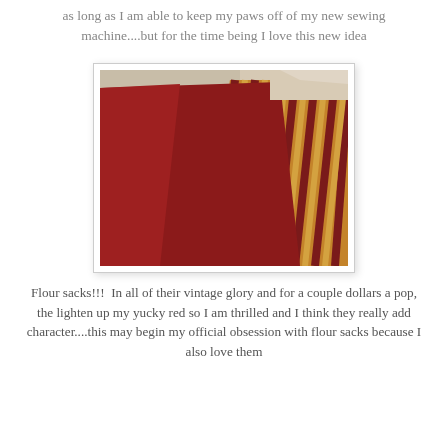as long as I am able to keep my paws off of my new sewing machine....but for the time being I love this new idea
[Figure (photo): Two decorative throw pillows on a light sofa: a large solid deep red/burgundy pillow in front, and a striped pillow in shades of orange, tan, and dark red behind it.]
Flour sacks!!!  In all of their vintage glory and for a couple dollars a pop, the lighten up my yucky red so I am thrilled and I think they really add character....this may begin my official obsession with flour sacks because I also love them